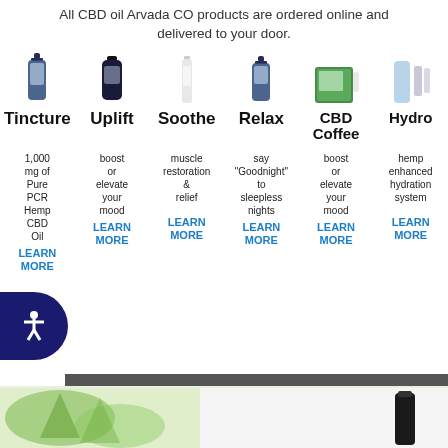All CBD oil Arvada CO products are ordered online and delivered to your door.
[Figure (photo): Six CBD product images in a row: tincture bottle, uplift capsule bottle, soothe tube, relax tincture bottle, CBD coffee box, and hydration product bottles]
Tincture 1,000 mg of Pure PCR Hemp CBD Oil LEARN MORE
Uplift boost or elevate your mood LEARN MORE
Soothe muscle restoration & relief LEARN MORE
Relax say "Goodnight" to sleepless nights LEARN MORE
CBD Coffee boost or elevate your mood LEARN MORE
Hydro hemp enhanced hydration system LEARN MORE
[Figure (photo): Bottom strip showing cannabis leaves and a dark dropper bottle on a light green background]